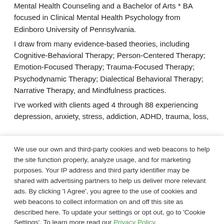Mental Health Counseling and a Bachelor of Arts * BA focused in Clinical Mental Health Psychology from Edinboro University of Pennsylvania.
I draw from many evidence-based theories, including Cognitive-Behavioral Therapy; Person-Centered Therapy; Emotion-Focused Therapy; Trauma-Focused Therapy; Psychodynamic Therapy; Dialectical Behavioral Therapy; Narrative Therapy, and Mindfulness practices.
I've worked with clients aged 4 through 88 experiencing depression, anxiety, stress, addiction, ADHD, trauma, loss,
We use our own and third-party cookies and web beacons to help the site function properly, analyze usage, and for marketing purposes. Your IP address and third party identifier may be shared with advertising partners to help us deliver more relevant ads. By clicking 'I Agree', you agree to the use of cookies and web beacons to collect information on and off this site as described here. To update your settings or opt out, go to 'Cookie Settings'. To learn more read our Privacy Policy.